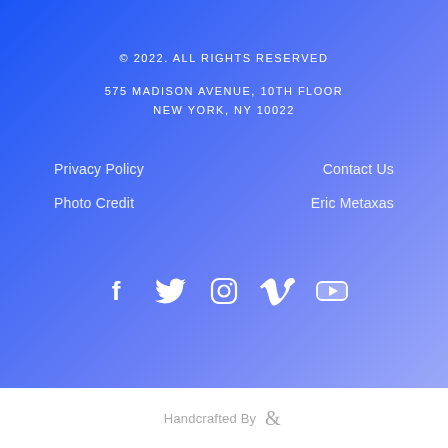© 2022. ALL RIGHTS RESERVED
575 MADISON AVENUE, 10TH FLOOR
NEW YORK, NY 10022
Privacy Policy
Contact Us
Photo Credit
Eric Metaxas
[Figure (infographic): Social media icons row: Facebook, Twitter, Instagram, Vimeo, YouTube — all white on blue gradient background]
Handcrafted By &